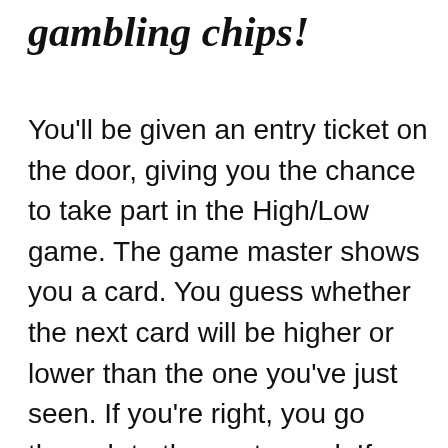gambling chips!
You'll be given an entry ticket on the door, giving you the chance to take part in the High/Low game. The game master shows you a card. You guess whether the next card will be higher or lower than the one you've just seen. If you're right, you go through to the next round. If you're wrong, you receive the winnings corresponding to the number of